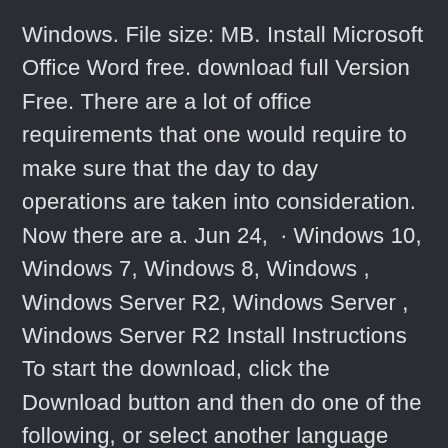Windows. File size: MB. Install Microsoft Office Word free. download full Version Free. There are a lot of office requirements that one would require to make sure that the day to day operations are taken into consideration. Now there are a. Jun 24,  · Windows 10, Windows 7, Windows 8, Windows , Windows Server R2, Windows Server , Windows Server R2 Install Instructions To start the download, click the Download button and then do one of the following, or select another language from Change Language and then click Change. Nov 29,  · Microsoft Office Download Free For Windows Free Download Overview. Many people are searching for Softonic app Microsoft Office Download Free For Windows 10, , 7 which is no doubt something amazing one. This is the predecessor of MS